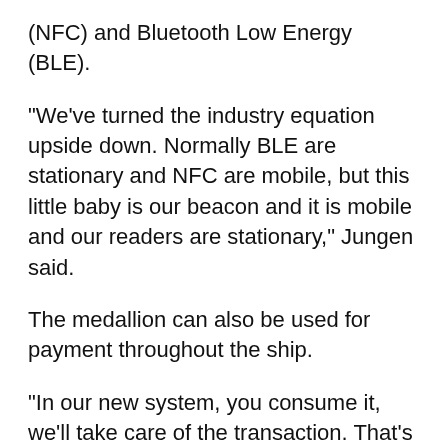(NFC) and Bluetooth Low Energy (BLE).
"We've turned the industry equation upside down. Normally BLE are stationary and NFC are mobile, but this little baby is our beacon and it is mobile and our readers are stationary," Jungen said.
The medallion can also be used for payment throughout the ship.
"In our new system, you consume it, we'll take care of the transaction. That's enabled by our Bluetooth Low Energy highly secured communications protocol that then goes back to our Medallion pay engine deep in the core of the experience ecosystem and communicates for payment